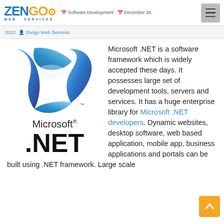[Figure (logo): Zengo Web Services logo in blue and orange]
Software Development | December 26, 2012 | Zengo Web Services
[Figure (logo): Microsoft .NET logo with blue ribbon graphic and Microsoft .NET wordmark]
Microsoft .NET is a software framework which is widely accepted these days. It possesses large set of development tools, servers and services. It has a huge enterprise library for Microsoft .NET developers. Dynamic websites, desktop software, web based application, mobile app, business applications and portals can be built using .NET framework. Large scale...